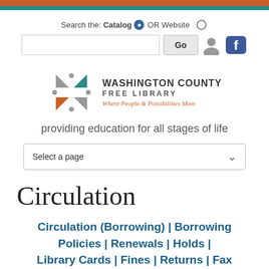[Figure (screenshot): Orange and teal top navigation bars]
Search the: Catalog OR Website
[Figure (logo): Washington County Free Library logo with tagline: Where People & Possibilities Meet]
providing education for all stages of life
Select a page
Circulation
Circulation (Borrowing) | Borrowing Policies | Renewals | Holds | Library Cards | Fines | Returns | Fax